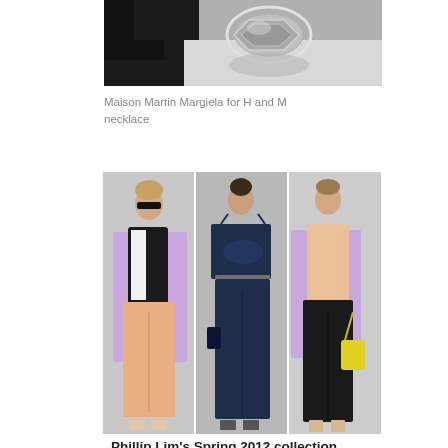[Figure (photo): Close-up photo of a Maison Martin Margiela for H and M necklace — a silver/chrome geometric pendant held between black-gloved hands against a reflective surface]
Maison Martin Margiela for H and M necklace
[Figure (photo): Three runway models from Phillip Lim's Spring 2012 collection: left model wears black tank with peach wide-leg pants and white/lavender open jacket; center model in navy blue camisole jumpsuit with thin belt; right model in peach sheer top, lavender vest, and black slim trousers carrying a yellow bag]
Phillip Lim's Spring 2012 collection